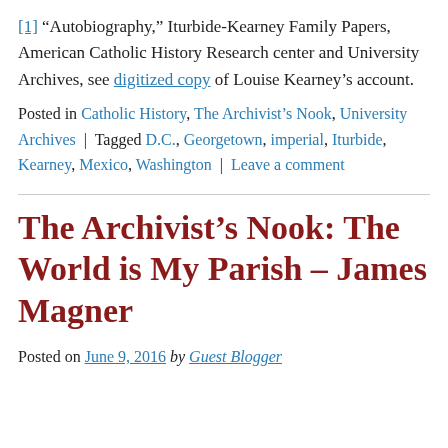[1] “Autobiography,” Iturbide-Kearney Family Papers, American Catholic History Research center and University Archives, see digitized copy of Louise Kearney’s account.
Posted in Catholic History, The Archivist’s Nook, University Archives | Tagged D.C., Georgetown, imperial, Iturbide, Kearney, Mexico, Washington | Leave a comment
The Archivist’s Nook: The World is My Parish – James Magner
Posted on June 9, 2016 by Guest Blogger